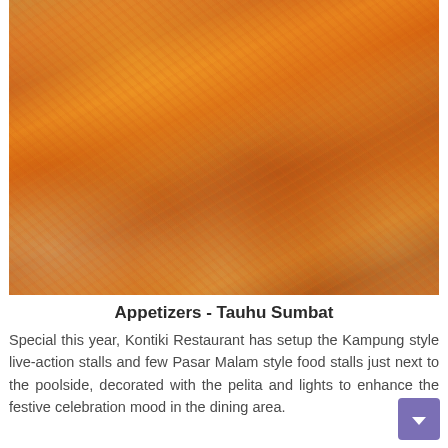[Figure (photo): Close-up photograph of Tauhu Sumbat (stuffed tofu appetizers) topped with shredded orange and yellow vegetables/carrots, arranged on white paper. The tofu pieces appear crispy and golden-brown with colorful vegetable toppings.]
Appetizers - Tauhu Sumbat
Special this year, Kontiki Restaurant has setup the Kampung style live-action stalls and few Pasar Malam style food stalls just next to the poolside, decorated with the pelita and lights to enhance the festive celebration mood in the dining area.